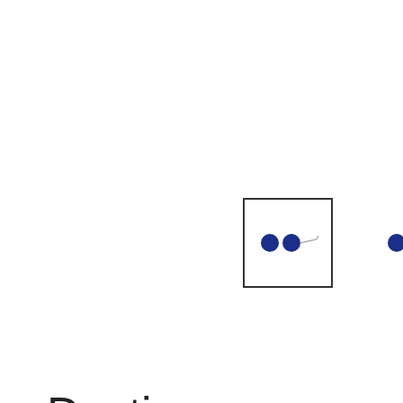[Figure (photo): Three thumbnail images of sapphire stud earrings. The first thumbnail is selected (has a black border box around it) showing a pair of blue sapphire studs with silver posts. The second shows two blue round gem studs. The third shows a pair of silver and blue earrings at a slight angle.]
Destiny Moon September/Sapphire Birthstone Earrings with Swarovski